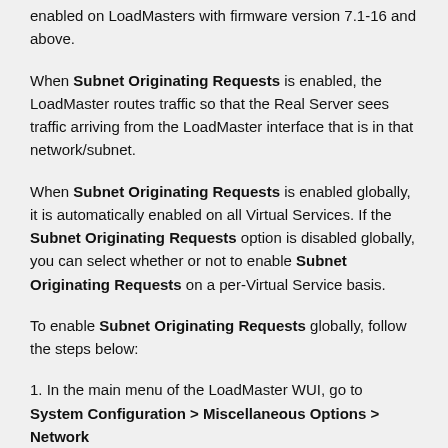enabled on LoadMasters with firmware version 7.1-16 and above.
When Subnet Originating Requests is enabled, the LoadMaster routes traffic so that the Real Server sees traffic arriving from the LoadMaster interface that is in that network/subnet.
When Subnet Originating Requests is enabled globally, it is automatically enabled on all Virtual Services. If the Subnet Originating Requests option is disabled globally, you can select whether or not to enable Subnet Originating Requests on a per-Virtual Service basis.
To enable Subnet Originating Requests globally, follow the steps below:
1. In the main menu of the LoadMaster WUI, go to System Configuration > Miscellaneous Options > Network